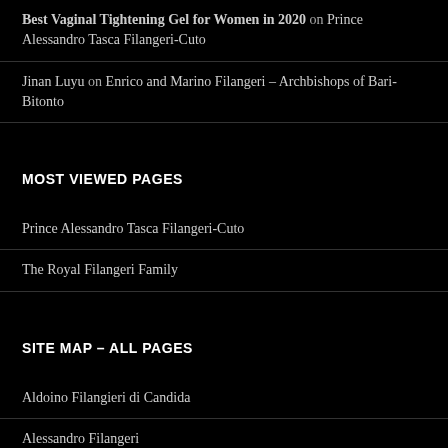Best Vaginal Tightening Gel for Women in 2020 on Prince Alessandro Tasca Filangeri-Cuto
Jinan Luyu on Enrico and Marino Filangeri – Archbishops of Bari-Bitonto
MOST VIEWED PAGES
Prince Alessandro Tasca Filangeri-Cuto
The Royal Filangeri Family
SITE MAP – ALL PAGES
Aldoino Filangieri di Candida
Alessandro Filangeri